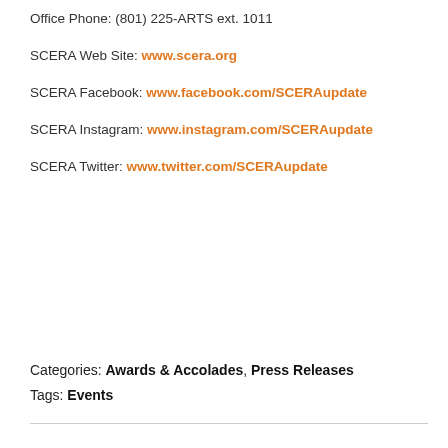Office Phone:  (801) 225-ARTS ext. 1011
SCERA Web Site:  www.scera.org
SCERA Facebook: www.facebook.com/SCERAupdate
SCERA Instagram: www.instagram.com/SCERAupdate
SCERA Twitter: www.twitter.com/SCERAupdate
Categories: Awards & Accolades, Press Releases
Tags: Events